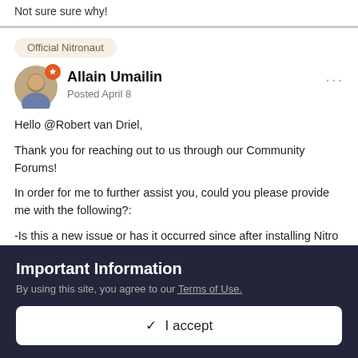Not sure sure why!
Official Nitronaut
Allain Umailin
Posted April 8
Hello @Robert van Driel,
Thank you for reaching out to us through our Community Forums!
In order for me to further assist you, could you please provide me with the following?:
-Is this a new issue or has it occurred since after installing Nitro Pro?
Important Information
By using this site, you agree to our Terms of Use.
✓  I accept